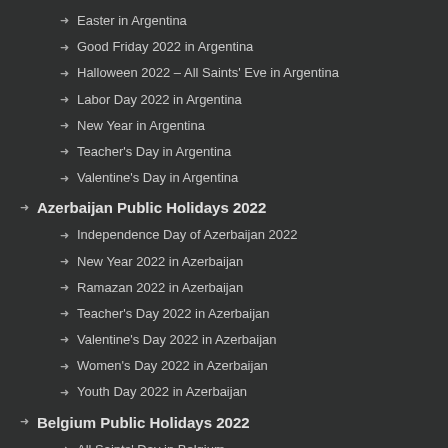Easter in Argentina
Good Friday 2022 in Argentina
Halloween 2022 – All Saints' Eve in Argentina
Labor Day 2022 in Argentina
New Year in Argentina
Teacher's Day in Argentina
Valentine's Day in Argentina
Azerbaijan Public Holidays 2022
Independence Day of Azerbaijan 2022
New Year 2022 in Azerbaijan
Ramazan 2022 in Azerbaijan
Teacher's Day 2022 in Azerbaijan
Valentine's Day 2022 in Azerbaijan
Women's Day 2022 in Azerbaijan
Youth Day 2022 in Azerbaijan
Belgium Public Holidays 2022
All Saints' Day in Belgium
Christmas Day in Belgium
Easter Monday 2022 in Belgium
Father's Day 2022 in Belgium
Labor Day 2022 in Belgium